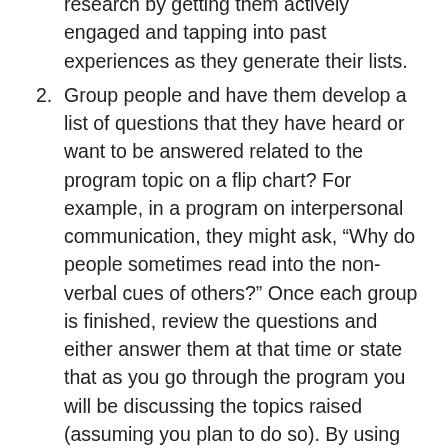research by getting them actively engaged and tapping into past experiences as they generate their lists.
2. Group people and have them develop a list of questions that they have heard or want to be answered related to the program topic on a flip chart? For example, in a program on interpersonal communication, they might ask, “Why do people sometimes read into the non-verbal cues of others?” Once each group is finished, review the questions and either answer them at that time or state that as you go through the program you will be discussing the topics raised (assuming you plan to do so). By using this activity, you can uncover the needs of your group while determining what is important to